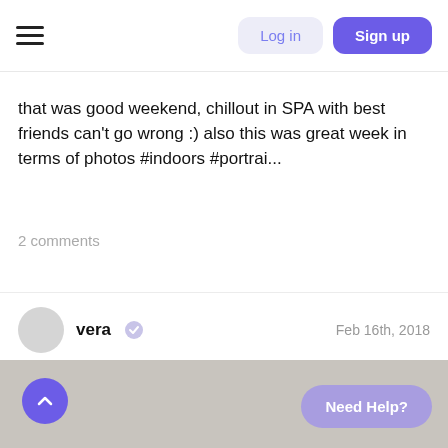Log in | Sign up
that was good weekend, chillout in SPA with best friends can't go wrong :) also this was great week in terms of photos #indoors #portrai...
2 comments
vera  Feb 16th, 2018
[Figure (photo): Gray image placeholder area below author row]
Need Help?